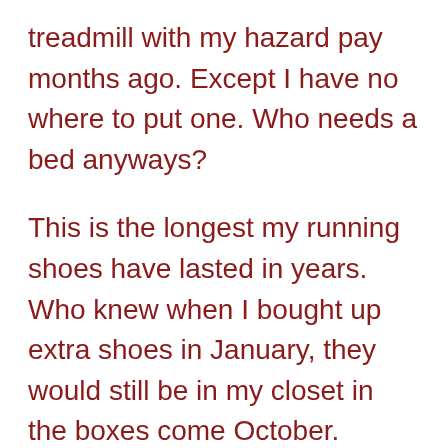treadmill with my hazard pay months ago. Except I have no where to put one. Who needs a bed anyways?
This is the longest my running shoes have lasted in years. Who knew when I bought up extra shoes in January, they would still be in my closet in the boxes come October.
Also I seem to be buying lots of running clothes. Yet, not running. Makes total sense, right?